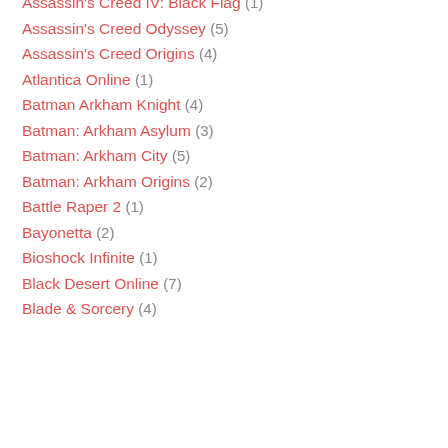Assassin's Creed IV: Black Flag (1)
Assassin's Creed Odyssey (5)
Assassin's Creed Origins (4)
Atlantica Online (1)
Batman Arkham Knight (4)
Batman: Arkham Asylum (3)
Batman: Arkham City (5)
Batman: Arkham Origins (2)
Battle Raper 2 (1)
Bayonetta (2)
Bioshock Infinite (1)
Black Desert Online (7)
Blade & Sorcery (4)